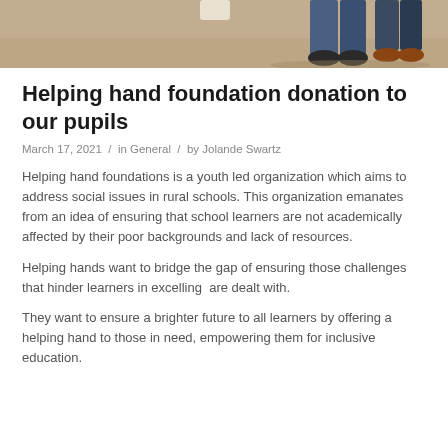[Figure (photo): Top portion of a photo showing people's feet/legs standing on sandy/dirt ground, cropped at the top of the page]
Helping hand foundation donation to our pupils
March 17, 2021  /  in General  /  by Jolande Swartz
Helping hand foundations is a youth led organization which aims to address social issues in rural schools. This organization emanates from an idea of ensuring that school learners are not academically affected by their poor backgrounds and lack of resources.
Helping hands want to bridge the gap of ensuring those challenges that hinder learners in excelling  are dealt with.
They want to ensure a brighter future to all learners by offering a helping hand to those in need, empowering them for inclusive education.